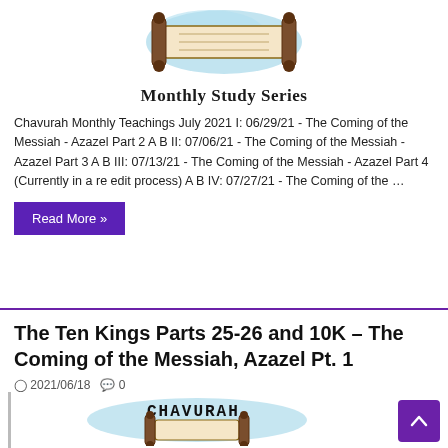[Figure (illustration): Torah scroll illustration with blue splash background and text 'Monthly Study Series']
Chavurah Monthly Teachings July 2021 I: 06/29/21 - The Coming of the Messiah - Azazel Part 2 A B II: 07/06/21 - The Coming of the Messiah - Azazel Part 3 A B III: 07/13/21 - The Coming of the Messiah - Azazel Part 4 (Currently in a re edit process) A B IV: 07/27/21 - The Coming of the …
Read More »
The Ten Kings Parts 25-26 and 10K – The Coming of the Messiah, Azazel Pt. 1
2021/06/18   0
[Figure (illustration): Chavurah logo with Torah scroll illustration and blue splash background]